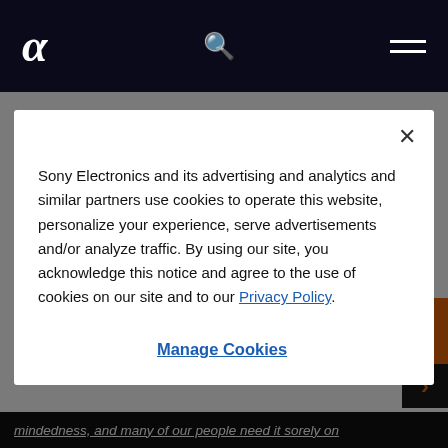Sony Alpha (α) — navigation bar with logo, search, and menu
best spots to take photos at certain locations.
It's Just That Simple
Sony Electronics and its advertising and analytics and similar partners use cookies to operate this website, personalize your experience, serve advertisements and/or analyze traffic. By using our site, you acknowledge this notice and agree to the use of cookies on our site and to our Privacy Policy.
Manage Cookies
mindedness, and many of our people need it sorely on